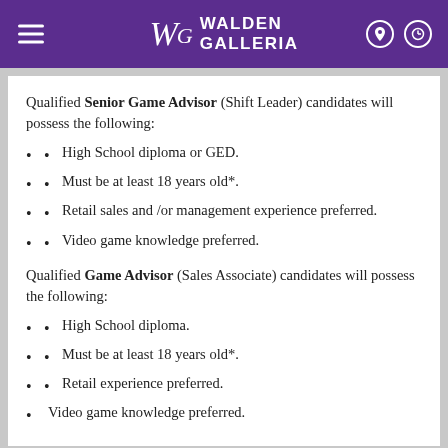Walden Galleria
Qualified Senior Game Advisor (Shift Leader) candidates will possess the following:
High School diploma or GED.
Must be at least 18 years old*.
Retail sales and /or management experience preferred.
Video game knowledge preferred.
Qualified Game Advisor (Sales Associate) candidates will possess the following:
High School diploma.
Must be at least 18 years old*.
Retail experience preferred.
Video game knowledge preferred.